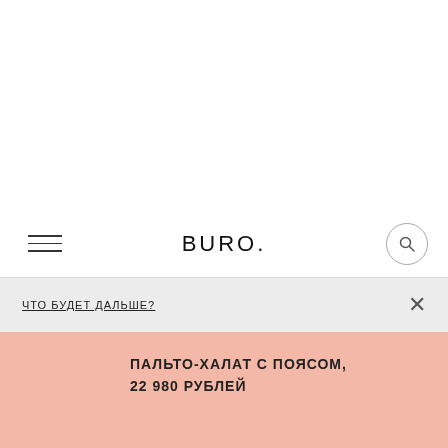BURO.
ЧТО БУДЕТ ДАЛЬШЕ?
ПАЛЬТО-ХАЛАТ С ПОЯСОМ, 22 980 РУБЛЕЙ